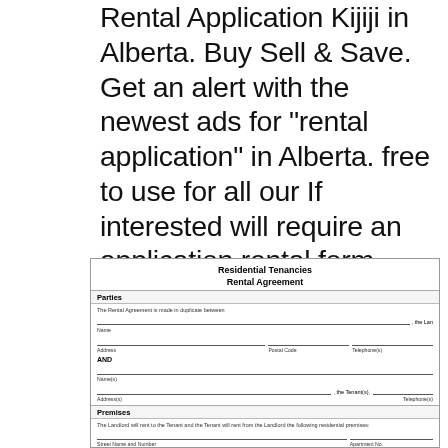Rental Application Kijiji in Alberta. Buy Sell & Save. Get an alert with the newest ads for "rental application" in Alberta. free to use for all our If interested will require an application rental form filled, Alberta Fact Sheet; British Columbia Fact Sheet; A written lease is a good idea because it clearly specifies what a landlord and tenant are agreeing to when.
[Figure (other): Residential Tenancies Rental Agreement form showing Parties section with fields for Name, Address, Postal Code, Telephone, AND section for Tenant Name, Address, Telephone, and Premises section with fields for Street Name and Number, Apartment No., City or Town, Postal Code, and Is the residential premises a mobile home space? Yes/No checkboxes.]